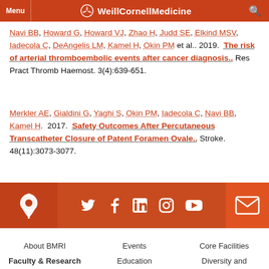WeillCornellMedicine — Menu | Search
Navi BB, Howard G, Howard VJ, Zhao H, Judd SE, Elkind MSV, Iadecola C, DeAngelis LM, Kamel H, Okin PM et al.. 2019. The risk of arterial thromboembolic events after cancer diagnosis.. Res Pract Thromb Haemost. 3(4):639-651.
Merkler AE, Gialdini G, Yaghi S, Okin PM, Iadecola C, Navi BB, Kamel H. 2017. Safety Outcomes After Percutaneous Transcatheter Closure of Patent Foramen Ovale.. Stroke. 48(11):3073-3077.
[Figure (infographic): Website footer with social media icons: location pin, Twitter, Facebook, LinkedIn, Instagram, YouTube, and email envelope on orange/dark-orange background]
About BMRI | Events | Core Facilities | Faculty & Research | Education | Diversity and
About BMRI
Events
Core Facilities
Faculty & Research
Education
Diversity and